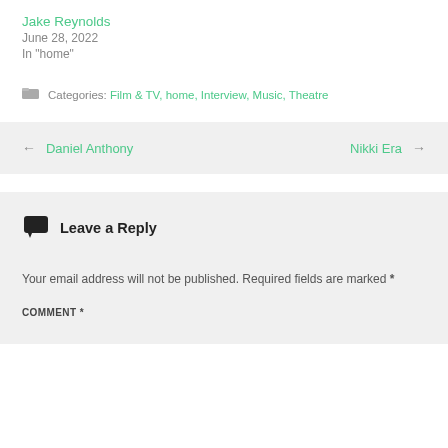Jake Reynolds
June 28, 2022
In "home"
Categories: Film & TV, home, Interview, Music, Theatre
← Daniel Anthony
Nikki Era →
Leave a Reply
Your email address will not be published. Required fields are marked *
COMMENT *